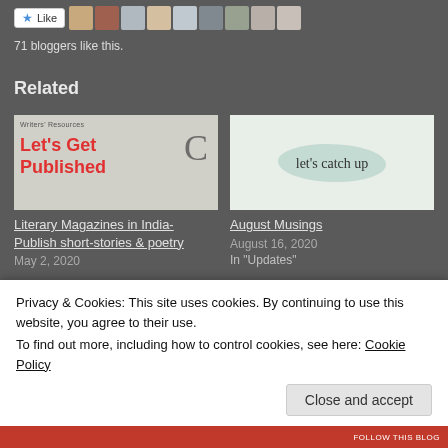[Figure (screenshot): Like button with star icon and a row of avatar thumbnails]
71 bloggers like this.
Related
[Figure (photo): Writers' Resources - Let's Get Published book cover image with red text]
Literary Magazines in India- Publish short-stories & poetry
May 2, 2020
[Figure (photo): let's catch up text on watercolor background]
August Musings
August 16, 2020
In "Updates"
Privacy & Cookies: This site uses cookies. By continuing to use this website, you agree to their use.
To find out more, including how to control cookies, see here: Cookie Policy
Close and accept